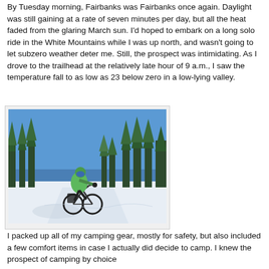By Tuesday morning, Fairbanks was Fairbanks once again. Daylight was still gaining at a rate of seven minutes per day, but all the heat faded from the glaring March sun. I'd hoped to embark on a long solo ride in the White Mountains while I was up north, and wasn't going to let subzero weather deter me. Still, the prospect was intimidating. As I drove to the trailhead at the relatively late hour of 9 a.m., I saw the temperature fall to as low as 23 below zero in a low-lying valley.
[Figure (photo): A cyclist wearing a green jacket and face mask riding a fat-tire bike on a snow-covered trail through a spruce forest under a clear blue sky.]
I packed up all of my camping gear, mostly for safety, but also included a few comfort items in case I actually did decide to camp. I knew the prospect of camping by choice